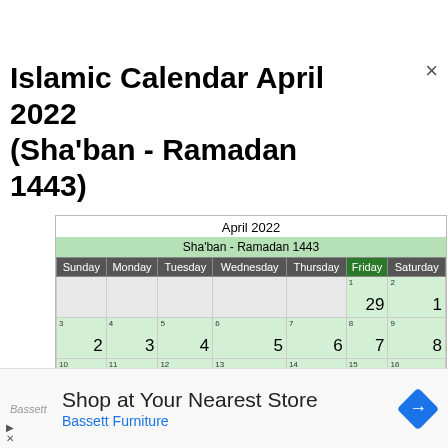Islamic Calendar April 2022 (Sha'ban - Ramadan 1443)
| Sunday | Monday | Tuesday | Wednesday | Thursday | Friday | Saturday |
| --- | --- | --- | --- | --- | --- | --- |
|  |  |  |  |  | 29 | 1 |
| 2 | 3 | 4 | 5 | 6 | 7 | 8 |
| 9 | 10 | 11 | 12 | 13 | 14 | 15 |
| 16 | 17 | 18 | 19 | 20 | 21 | 22 |
Shop at Your Nearest Store Bassett Furniture